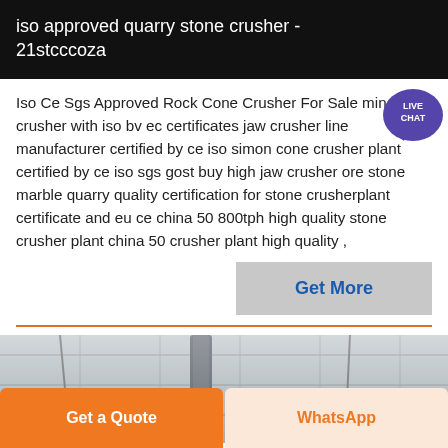iso approved quarry stone crusher - 21stcccoza
Iso Ce Sgs Approved Rock Cone Crusher For Sale mine jaw crusher with iso bv ec certificates jaw crusher line manufacturer certified by ce iso simon cone crusher plant certified by ce iso sgs gost buy high jaw crusher ore stone marble quarry quality certification for stone crusherplant certificate and eu ce china 50 800tph high quality stone crusher plant china 50 crusher plant high quality ,
[Figure (other): Live Chat badge - circular purple speech bubble with text LIVE CHAT]
Get More
[Figure (photo): Photograph of an industrial ceiling with structural panels and pipes/cables visible]
Get a Quote
WhatsApp